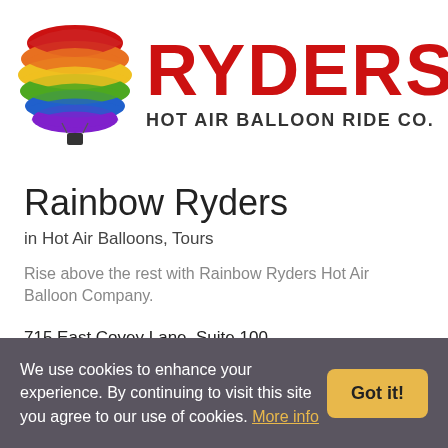[Figure (logo): Rainbow Ryders Hot Air Balloon Ride Co. logo with a colorful hot air balloon and red bold 'RYDERS' text with 'HOT AIR BALLOON RIDE CO.' below]
Rainbow Ryders
in Hot Air Balloons, Tours
Rise above the rest with Rainbow Ryders Hot Air Balloon Company.
715 East Covey Lane, Suite 100
Phoenix, Arizona 85024
Is this your listing?
We use cookies to enhance your experience. By continuing to visit this site you agree to our use of cookies. More info